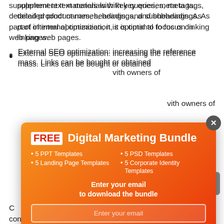supplement text materials with key queries, meta tags, detailed product names, headings, and subheadings. As part of internal optimization, it is optimal to focus on linking web pages.
External SEO optimization: increasing the reference mass. Links can be bought or obtained ... with owners of
d other content ... of the site with ... em.
s, lack of ... all this can ... s to modern
[Figure (screenshot): Popup modal with orange gradient background offering a FREE Digital Marketing Bundle. Contains title 'FREE Digital Marketing Bundle', features list (5 PPT Templates, 5 PSD Templates, 5 Landing Page Templates, 5 Corporate Identity Templates), CTA text 'Enter your email to download the bundle', an email input field, and a 'Get Bundle' button. Has a close X button in top right.]
O ... that users constantly interact with. It also has a direct impact on